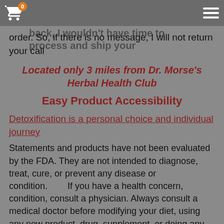...marketing calls that it I was to call each number back, I wouldn't have time to process and ship your order.
order. So, if there is no message, I will not return your call
Located only 3 miles from Dr. Morse's Herbal Health Club
Easy Product Accessibility
Detoxification is a personal choice and individual journey
Statements and products have not been evaluated by the FDA. They are not intended to diagnose, treat, cure, or prevent any disease or condition.      If you have a health concern, condition, consult a physician. Always consult a medical doctor before modifying your diet, using any new product, drug, supplement, or doing any new exercises.
Out of Stock Products